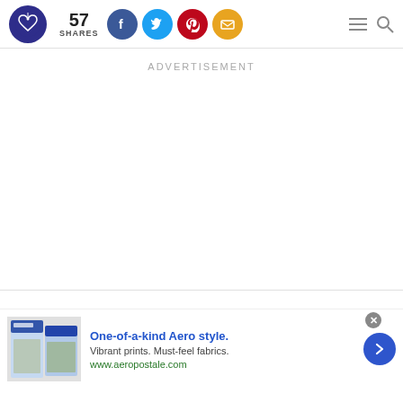Logo | 57 SHARES | social buttons | menu | search
ADVERTISEMENT
[Figure (infographic): Aeropostale advertisement banner with magazine image, headline 'One-of-a-kind Aero style.', subtext 'Vibrant prints. Must-feel fabrics.', URL 'www.aeropostale.com', close button, next arrow button]